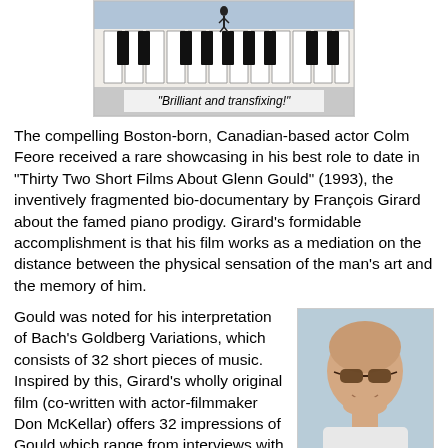[Figure (photo): Movie poster image showing piano keys with the quote 'Brilliant and transfixing!' overlaid]
The compelling Boston-born, Canadian-based actor Colm Feore received a rare showcasing in his best role to date in "Thirty Two Short Films About Glenn Gould" (1993), the inventively fragmented bio-documentary by François Girard about the famed piano prodigy. Girard's formidable accomplishment is that his film works as a mediation on the distance between the physical sensation of the man's art and the memory of him.
Gould was noted for his interpretation of Bach's Goldberg Variations, which consists of 32 short pieces of music. Inspired by this, Girard's wholly original film (co-written with actor-filmmaker Don McKellar) offers 32 impressions of Gould which range from interviews with people who knew him to short recreations of
[Figure (photo): Portrait photo of a man with sunglasses, bald, smiling slightly, wearing a white shirt, outdoors.]